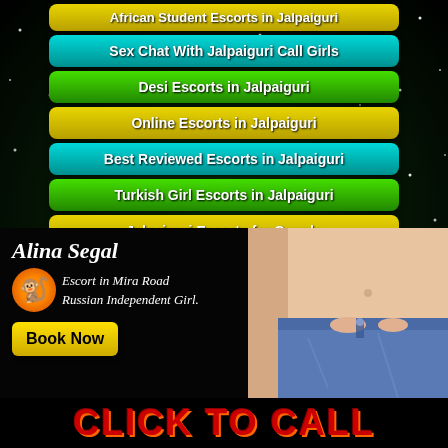African Student Escorts in Jalpaiguri
Sex Chat With Jalpaiguri Call Girls
Desi Escorts in Jalpaiguri
Online Escorts in Jalpaiguri
Best Reviewed Escorts in Jalpaiguri
Turkish Girl Escorts in Jalpaiguri
Jalpaiguri Escorts for Couple
Air Hostess Escorts in Jalpaiguri
[Figure (infographic): Ad banner: Alina Segal, Escort in Mira Road, Russian Independent Girl. Book Now button with monkey mascot icon. Right side shows photo of woman in denim shorts.]
CLICK TO CALL